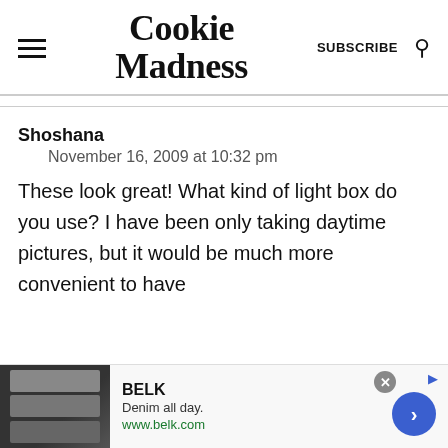Cookie Madness — SUBSCRIBE (search icon)
Shoshana
November 16, 2009 at 10:32 pm
These look great! What kind of light box do you use? I have been only taking daytime pictures, but it would be much more convenient to have
[Figure (other): Advertisement banner for BELK: Denim all day. www.belk.com with photo thumbnails of models in denim.]